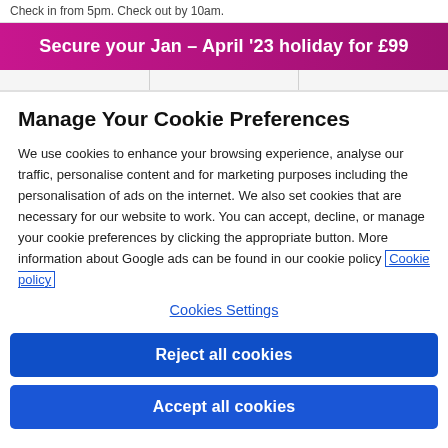Check in from 5pm. Check out by 10am.
[Figure (infographic): Promotional banner with pink/magenta gradient background reading: Secure your Jan - April '23 holiday for £99]
Manage Your Cookie Preferences
We use cookies to enhance your browsing experience, analyse our traffic, personalise content and for marketing purposes including the personalisation of ads on the internet. We also set cookies that are necessary for our website to work. You can accept, decline, or manage your cookie preferences by clicking the appropriate button. More information about Google ads can be found in our cookie policy Cookie policy
Cookies Settings
Reject all cookies
Accept all cookies